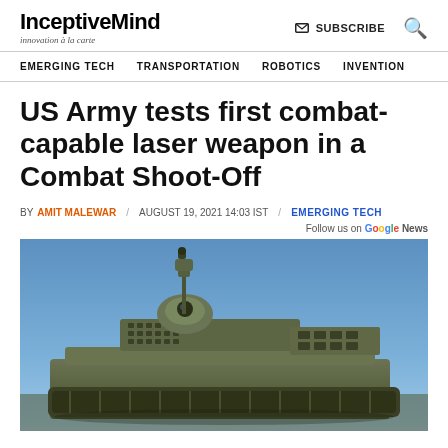InceptiveMind — innovation à la carte | SUBSCRIBE | Search
EMERGING TECH | TRANSPORTATION | ROBOTICS | INVENTION
US Army tests first combat-capable laser weapon in a Combat Shoot-Off
BY AMIT MALEWAR / AUGUST 19, 2021 14:03 IST / EMERGING TECH
Follow us on Google News
[Figure (photo): Military combat vehicle with laser weapon system mounted on top, photographed against a blue sky background. The vehicle appears to be an armored ground vehicle with electronic/sensor equipment and what appears to be the High Energy Laser Mobile Demonstrator (HEL MD) system.]